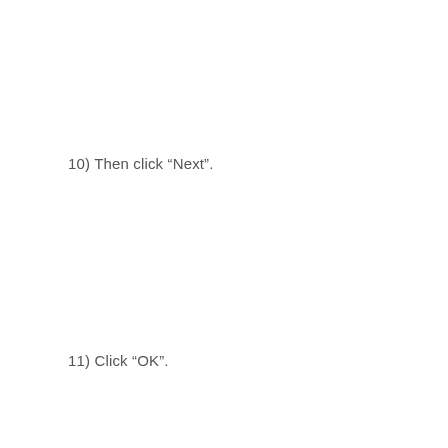10) Then click “Next”.
11) Click “OK”.